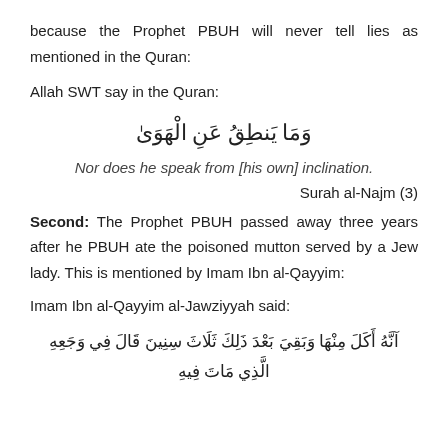because the Prophet PBUH will never tell lies as mentioned in the Quran:
Allah SWT say in the Quran:
وَمَا يَنطِقُ عَنِ الْهَوَىٰ
Nor does he speak from [his own] inclination.
Surah al-Najm (3)
Second: The Prophet PBUH passed away three years after he PBUH ate the poisoned mutton served by a Jew lady. This is mentioned by Imam Ibn al-Qayyim:
Imam Ibn al-Qayyim al-Jawziyyah said:
آنَّهُ أَكَلَ مِنْهَا وَبَقِيَ بَعْدَ ذَلِكَ ثَلَاثَ سِنِينَ قَالَ فِي وَجَعِهِ الَّذِي مَاتَ فِيهِ